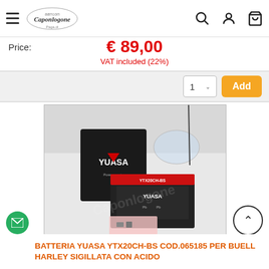Caponlogne — website header with logo, hamburger menu, search, account, and cart icons
Price:  €89,00  VAT included (22%)
[Figure (screenshot): Add to cart widget with quantity selector showing '1' and orange 'Add' button]
[Figure (photo): Product photo of Yuasa YTX20CH-BS battery with box, acid pack, and hardware on white background]
BATTERIA YUASA YTX20CH-BS COD.065185 PER BUELL HARLEY SIGILLATA CON ACIDO